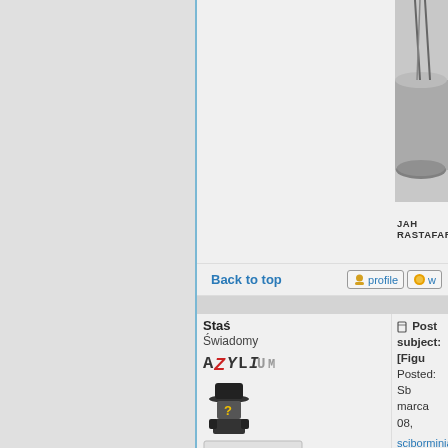[Figure (photo): Close-up photo of a miniature figure base, metallic disc shape, on light background, cropped at top right of page]
JAH RASTAFARA
Back to top
profile
w
Staś
Świadomy
[Figure (logo): AZYLIUM stylized logo text]
[Figure (illustration): Pixel art avatar of a figure in a hat with question mark]
[Figure (illustration): OFFliNE badge in retro mixed-case monospace font]
Joined: lut 02, 2013
Posts: 842
Filia Mazowiecka
Post subject: [Figu
Posted: Sb marca 08,
sciborminiatures.c
sciborminiatures.c